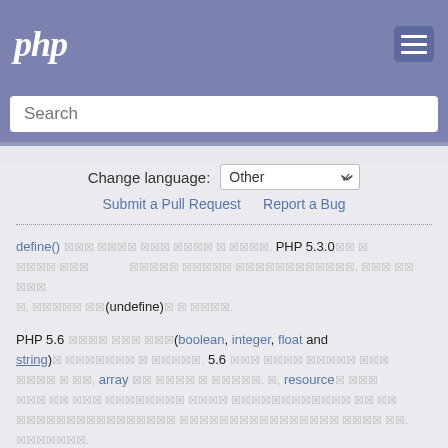php
Search
Change language: Other
Submit a Pull Request   Report a Bug
define() [?][?][?] [?][?][?][?] [?][?][?] [?][?][?][?] [?] [?][?][?][?]. PHP 5.3.0[?][?] [?] [?][?][?][?] [?][?][?] [?][?][?][?][?] [?][?][?][?][?] [?][?][?][?][?][?][?][?][?][?][?]. [?][?][?] [?][?] [?][?][?][?] [?], [?][?][?][?][?] [?][?](undefine)[?] [?] [?][?][?][?].
PHP 5.6 [?][?][?][?] [?][?][?] [?][?][?](boolean, integer, float and string)[?] [?][?][?][?][?][?][?] [?] [?][?][?][?][?]. 5.6 [?][?][?] [?][?][?][?] [?][?][?][?][?] [?][?][?] [?][?][?][?] [?][?][?][?] [?] [?][?], array [?][?] [?][?][?][?] [?] [?][?][?][?][?]. [?], resource [?] [?][?][?] [?][?][?] [?][?] [?][?][?][?][?][?] [?][?][?][?] [?][?][?][?][?][?][?][?] [?][?] [?][?] [?][?] [?][?][?][?][?][?][?][?] [?][?][?][?][?][?][?][?] [?][?][?][?] [?].